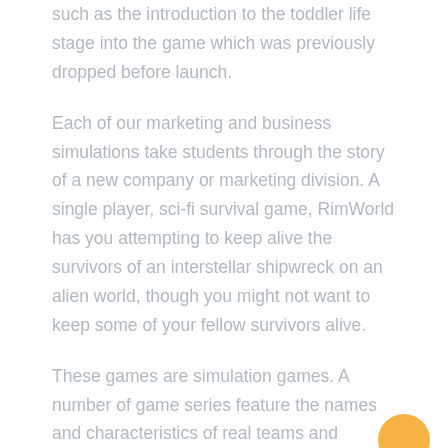such as the introduction to the toddler life stage into the game which was previously dropped before launch.
Each of our marketing and business simulations take students through the story of a new company or marketing division. A single player, sci-fi survival game, RimWorld has you attempting to keep alive the survivors of an interstellar shipwreck on an alien world, though you might not want to keep some of your fellow survivors alive.
These games are simulation games. A number of game series feature the names and characteristics of real teams and players, and are updated annually to reflect real-world changes. While an interest in football (or, yes, soccer) will go a long way toward enhancing your understanding and enjoyment of Football Manager , it's one of the most complex simulations of any kind in its